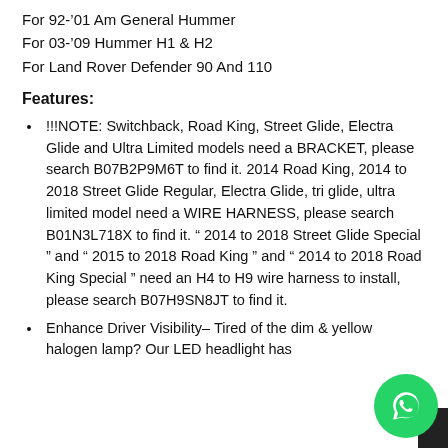For 92-'01 Am General Hummer
For 03-'09 Hummer H1 & H2
For Land Rover Defender 90 And 110
Features:
!!!NOTE: Switchback, Road King, Street Glide, Electra Glide and Ultra Limited models need a BRACKET, please search B07B2P9M6T to find it. 2014 Road King, 2014 to 2018 Street Glide Regular, Electra Glide, tri glide, ultra limited model need a WIRE HARNESS, please search B01N3L718X to find it. " 2014 to 2018 Street Glide Special " and " 2015 to 2018 Road King " and " 2014 to 2018 Road King Special " need an H4 to H9 wire harness to install, please search B07H9SN8JT to find it.
Enhance Driver Visibility– Tired of the dim & yellow halogen lamp? Our LED headlight has